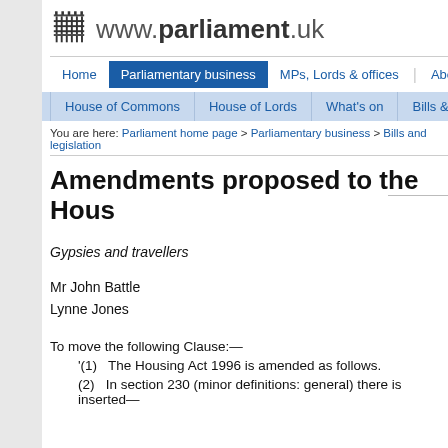[Figure (logo): UK Parliament portcullis logo with text www.parliament.uk]
Home | Parliamentary business | MPs, Lords & offices | About Parliament
House of Commons | House of Lords | What's on | Bills & legislation
You are here: Parliament home page > Parliamentary business > Bills and legislation
Amendments proposed to the House
Gypsies and travellers
Mr John Battle
Lynne Jones
To move the following Clause:—
'(1) The Housing Act 1996 is amended as follows.
(2) In section 230 (minor definitions: general) there is inserted—